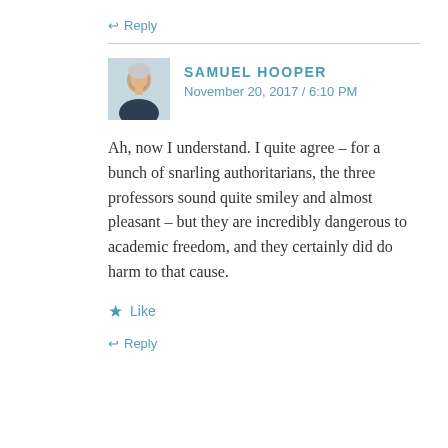↩ Reply
[Figure (photo): Avatar photo of Samuel Hooper, a man in a dark sweater]
SAMUEL HOOPER
November 20, 2017 / 6:10 PM
Ah, now I understand. I quite agree – for a bunch of snarling authoritarians, the three professors sound quite smiley and almost pleasant – but they are incredibly dangerous to academic freedom, and they certainly did do harm to that cause.
★ Like
↩ Reply